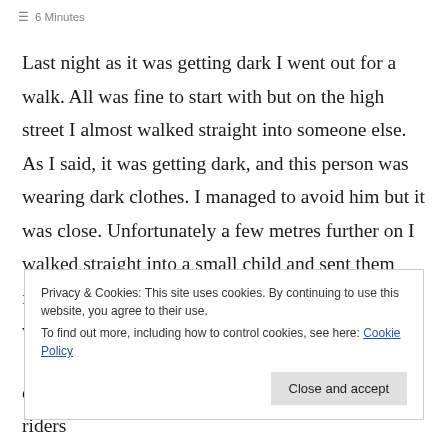6 Minutes
Last night as it was getting dark I went out for a walk. All was fine to start with but on the high street I almost walked straight into someone else. As I said, it was getting dark, and this person was wearing dark clothes. I managed to avoid him but it was close. Unfortunately a few metres further on I walked straight into a small child and sent them flying across the pavement. I really do think that when children are out at this time, and it
Privacy & Cookies: This site uses cookies. By continuing to use this website, you agree to their use.
To find out more, including how to control cookies, see here: Cookie Policy
cycled into the back of a horse. In my opinion riders